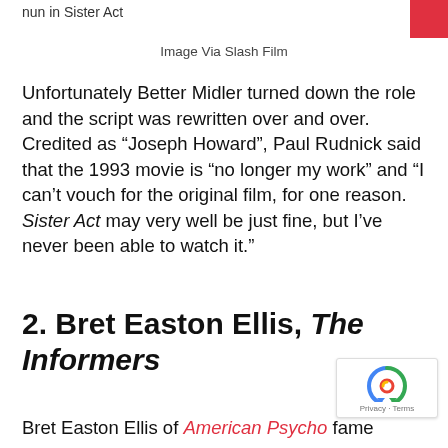nun in Sister Act
Image Via Slash Film
Unfortunately Better Midler turned down the role and the script was rewritten over and over. Credited as “Joseph Howard”, Paul Rudnick said that the 1993 movie is “no longer my work” and “I can’t vouch for the original film, for one reason. Sister Act may very well be just fine, but I’ve never been able to watch it.”
2. Bret Easton Ellis, The Informers
Bret Easton Ellis of American Psycho fame